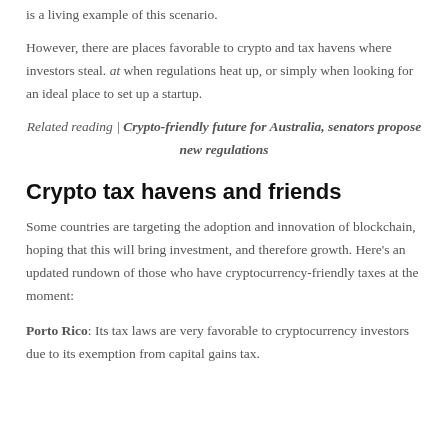is a living example of this scenario.
However, there are places favorable to crypto and tax havens where investors steal. at when regulations heat up, or simply when looking for an ideal place to set up a startup.
Related reading | Crypto-friendly future for Australia, senators propose new regulations
Crypto tax havens and friends
Some countries are targeting the adoption and innovation of blockchain, hoping that this will bring investment, and therefore growth. Here's an updated rundown of those who have cryptocurrency-friendly taxes at the moment:
Porto Rico: Its tax laws are very favorable to cryptocurrency investors due to its exemption from capital gains tax.